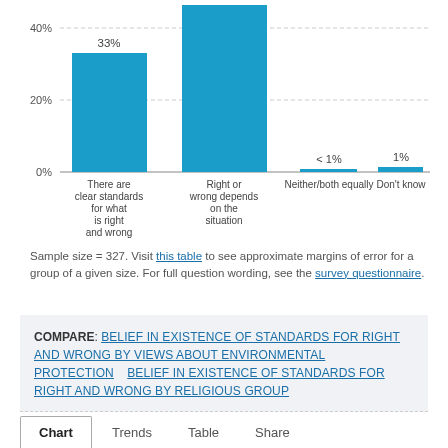[Figure (bar-chart): ]
Sample size = 327. Visit this table to see approximate margins of error for a group of a given size. For full question wording, see the survey questionnaire.
COMPARE: BELIEF IN EXISTENCE OF STANDARDS FOR RIGHT AND WRONG BY VIEWS ABOUT ENVIRONMENTAL PROTECTION   BELIEF IN EXISTENCE OF STANDARDS FOR RIGHT AND WRONG BY RELIGIOUS GROUP
Chart   Trends   Table   Share